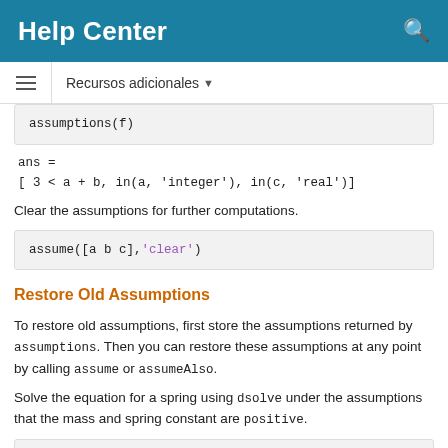Help Center
Recursos adicionales
assumptions(f)
ans =
[ 3 < a + b, in(a, 'integer'), in(c, 'real')]
Clear the assumptions for further computations.
assume([a b c],'clear')
Restore Old Assumptions
To restore old assumptions, first store the assumptions returned by assumptions. Then you can restore these assumptions at any point by calling assume or assumeAlso.
Solve the equation for a spring using dsolve under the assumptions that the mass and spring constant are positive.
syms m k positive
syms u(t)